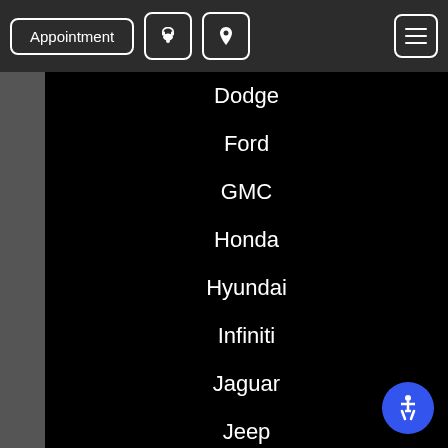Appointment | Phone | Location | Menu
Dodge
Ford
GMC
Honda
Hyundai
Infiniti
Jaguar
Jeep
Kia
Land Rover
Lexus